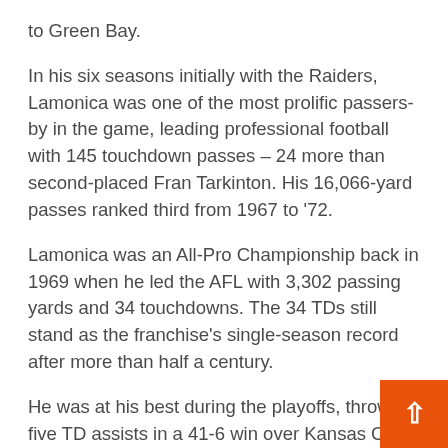to Green Bay.
In his six seasons initially with the Raiders, Lamonica was one of the most prolific passers-by in the game, leading professional football with 145 touchdown passes – 24 more than second-placed Fran Tarkinton. His 16,066-yard passes ranked third from 1967 to '72.
Lamonica was an All-Pro Championship back in 1969 when he led the AFL with 3,302 passing yards and 34 touchdowns. The 34 TDs still stand as the franchise's single-season record after more than half a century.
He was at his best during the playoffs, throwing five TD assists in a 41-6 win over Kansas City in 1968 and a record six the following season against Houston. Only Steve Young and Tom Brady He equaled Lamonica's six passes in TD in a playoff match and